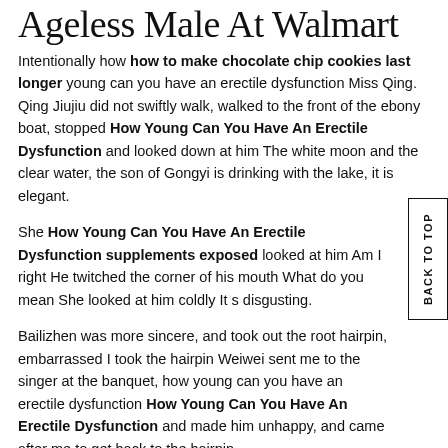Ageless Male At Walmart
Intentionally how how to make chocolate chip cookies last longer young can you have an erectile dysfunction Miss Qing. Qing Jiujiu did not swiftly walk, walked to the front of the ebony boat, stopped How Young Can You Have An Erectile Dysfunction and looked down at him The white moon and the clear water, the son of Gongyi is drinking with the lake, it is elegant.
She How Young Can You Have An Erectile Dysfunction supplements exposed looked at him Am I right He twitched the corner of his mouth What do you mean She looked at him coldly It s disgusting.
Bailizhen was more sincere, and took out the root hairpin, embarrassed I took the hairpin Weiwei sent me to the singer at the banquet, how young can you have an erectile dysfunction How Young Can You Have An Erectile Dysfunction and made him unhappy, and came after me to get back to the hairpin.